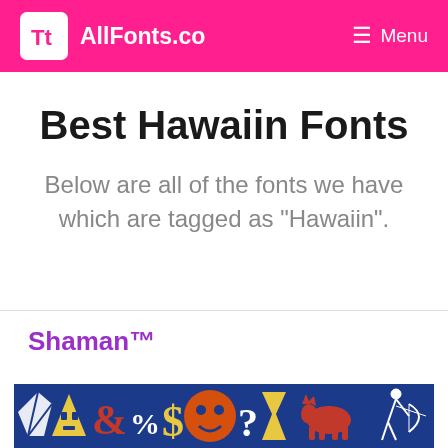AllFonts.co — Menu
Best Hawaiin Fonts
Below are all of the fonts we have which are tagged as "Hawaiin".
Shaman™
[Figure (illustration): Font preview strip showing the Shaman™ font with various decorative symbols and characters on a dark blue background, including tribal/Hawaiian-style glyphs in red, yellow, orange and white. Below is a partial view of the font's lowercase alphabet.]